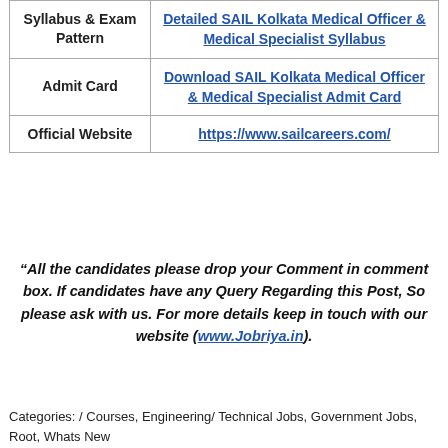|  |  |
| --- | --- |
| Syllabus & Exam Pattern | Detailed SAIL Kolkata Medical Officer & Medical Specialist Syllabus |
| Admit Card | Download SAIL Kolkata Medical Officer & Medical Specialist Admit Card |
| Official Website | https://www.sailcareers.com/ |
“All the candidates please drop your Comment in comment box. If candidates have any Query Regarding this Post, So please ask with us. For more details keep in touch with our website (www.Jobriya.in).
Categories: / Courses, Engineering/ Technical Jobs, Government Jobs, Root, Whats New